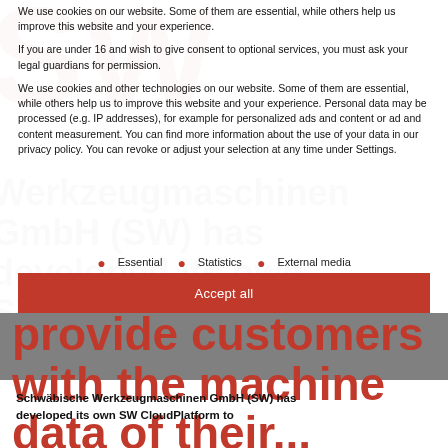We use cookies on our website. Some of them are essential, while others help us improve this website and your experience.
If you are under 16 and wish to give consent to optional services, you must ask your legal guardians for permission.
We use cookies and other technologies on our website. Some of them are essential, while others help us to improve this website and your experience. Personal data may be processed (e.g. IP addresses), for example for personalized ads and content or ad and content measurement. You can find more information about the use of your data in our privacy policy. You can revoke or adjust your selection at any time under Settings.
Essential
Statistics
External media
Accept all
provide customers with the machine data of their...
Schwäbische Werkzeugmaschinen GmbH (SW) has developed its own SW CloudPlatform to